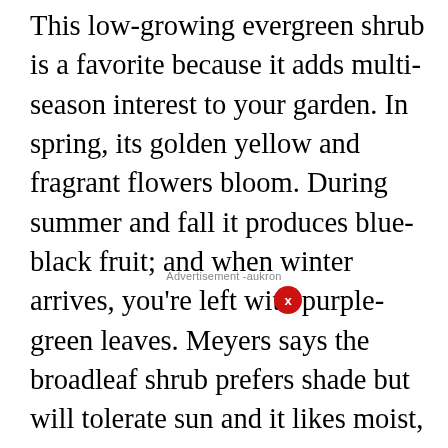This low-growing evergreen shrub is a favorite because it adds multi-season interest to your garden. In spring, its golden yellow and fragrant flowers bloom. During summer and fall it produces blue-black fruit; and when winter arrives, you're left with purple-green leaves. Meyers says the broadleaf shrub prefers shade but will tolerate sun and it likes moist, acidic soils. The plant should be watered frequently during its first year, but once it is established, watering is only needed during high temperatures or during times of drought. In well-drained soil, the plan spreads through underground stems to about one to three feet, Funk notes. "Depending on how thick your desired coverage is, plant about two to three feet apart," she says.